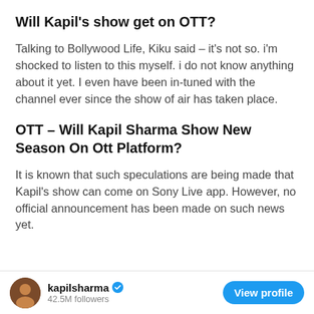Will Kapil's show get on OTT?
Talking to Bollywood Life, Kiku said – it's not so. i'm shocked to listen to this myself. i do not know anything about it yet. I even have been in-tuned with the channel ever since the show of air has taken place.
OTT – Will Kapil Sharma Show New Season On Ott Platform?
It is known that such speculations are being made that Kapil's show can come on Sony Live app. However, no official announcement has been made on such news yet.
kapilsharma  42.5M followers  View profile